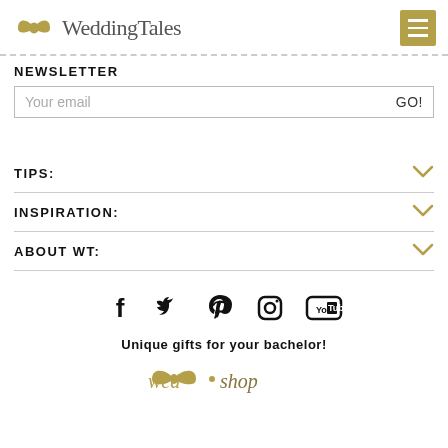Wedding Tales
NEWSLETTER
Your email  GO!
TIPS:
INSPIRATION:
ABOUT WT:
[Figure (infographic): Social media icons: Facebook, Twitter, Pinterest, Instagram, YouTube]
Unique gifts for your bachelor!
[Figure (logo): wed-shop logo with bow icon]